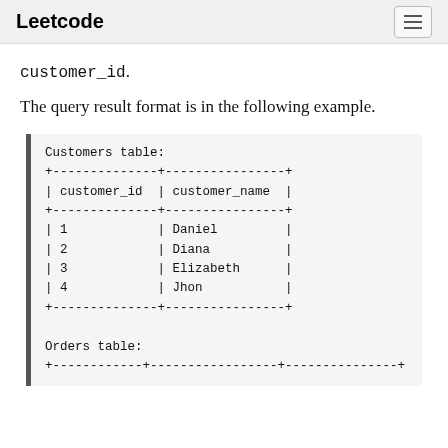Leetcode
customer_id.
The query result format is in the following example.
| customer_id | customer_name |
| --- | --- |
| 1 | Daniel |
| 2 | Diana |
| 3 | Elizabeth |
| 4 | Jhon |
Orders table: